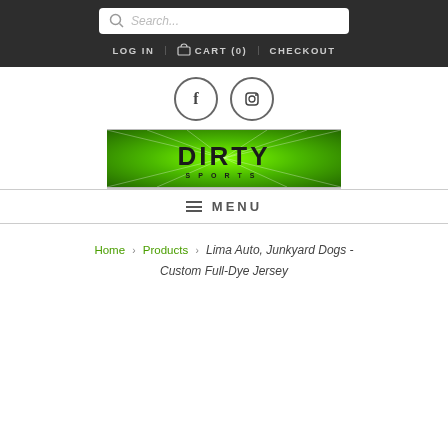Search... | LOG IN  CART (0)  CHECKOUT
[Figure (logo): Facebook and Instagram social media circle icons]
[Figure (logo): Dirty Sports logo banner with green rays background, stylized bold text reading DIRTY SPORTS]
MENU
Home › Products › Lima Auto, Junkyard Dogs - Custom Full-Dye Jersey